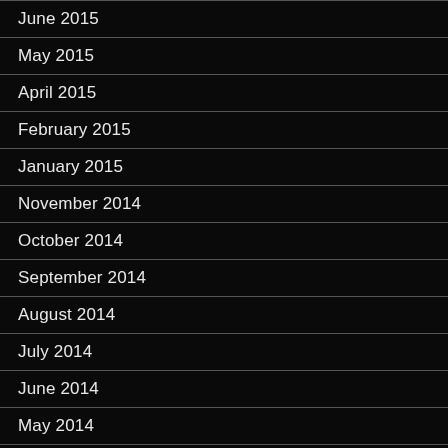June 2015
May 2015
April 2015
February 2015
January 2015
November 2014
October 2014
September 2014
August 2014
July 2014
June 2014
May 2014